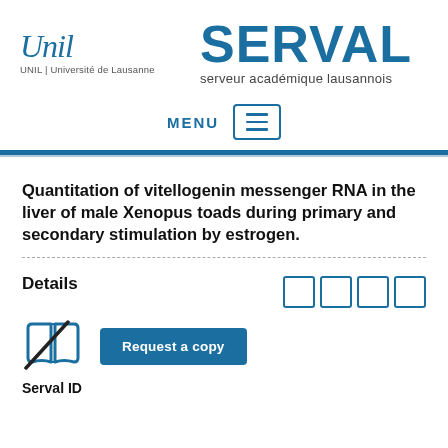[Figure (logo): UNIL Université de Lausanne logo with italic script 'Unil' and SERVAL branding with subtitle 'serveur académique lausannois']
[Figure (other): MENU navigation bar with hamburger icon]
Quantitation of vitellogenin messenger RNA in the liver of male Xenopus toads during primary and secondary stimulation by estrogen.
Details
[Figure (other): Book icon with diagonal line through it (unavailable) and 'Request a copy' button]
Serval ID